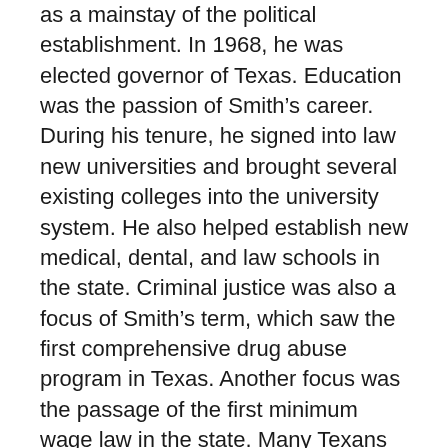as a mainstay of the political establishment. In 1968, he was elected governor of Texas. Education was the passion of Smith's career. During his tenure, he signed into law new universities and brought several existing colleges into the university system. He also helped establish new medical, dental, and law schools in the state. Criminal justice was also a focus of Smith's term, which saw the first comprehensive drug abuse program in Texas. Another focus was the passage of the first minimum wage law in the state. Many Texans also remember Smith's participation in the “Drive Friendly” auto safety campaign. Smith’s second term was dominated by fallout from the Sharpstown scandal, which destroyed the career of House Speaker Gus Mutscher, derailed Lieutenant Governor Ben Barnes, and resulted in the defeat of many long-term office-holders in the 1972 election. After leaving office, Smith returned to Lubbock and was active in civic and business affairs. He attempted a comeback in 1978 but was defeated in the primary. He later chaired the…